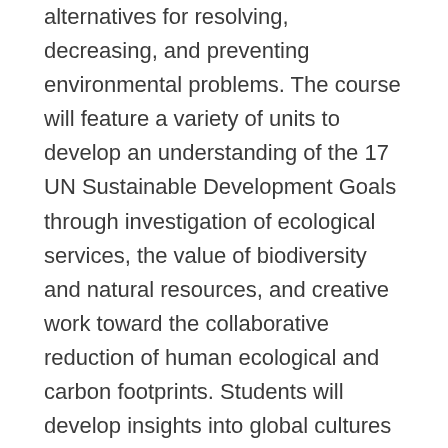alternatives for resolving, decreasing, and preventing environmental problems. The course will feature a variety of units to develop an understanding of the 17 UN Sustainable Development Goals through investigation of ecological services, the value of biodiversity and natural resources, and creative work toward the collaborative reduction of human ecological and carbon footprints. Students will develop insights into global cultures in less and more economically developed societies and build empathy for myriad worldviews through role-playing and panel debates on hot-topic issues. Fieldwork investigations will take students out of the classroom into regional terrestrial and aquatic ecosystems to conduct field research culminating in a college-level co-authored paper. Science and engineering practices will be applied through collaborative lab work and analysis of environmental quality to determine ecosystem integrity